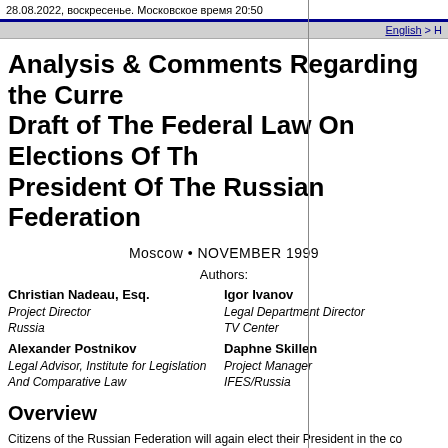28.08.2022, воскресенье. Московское время 20:50
English > H
Analysis & Comments Regarding the Current Draft of The Federal Law On Elections Of The President Of The Russian Federation
Moscow • NOVEMBER 1999
Authors:
Christian Nadeau, Esq.
Project Director
Russia
Alexander Postnikov
Legal Advisor, Institute for Legislation And Comparative Law
Igor Ivanov
Legal Department Director
TV Center
Daphne Skillen
Project Manager
IFES/Russia
Overview
Citizens of the Russian Federation will again elect their President in the coming year. A newly revised draft of the Federal Law governing this election is currently being considered by the State Duma (the «Draft Law»). This Draft Law incorporates significant revisions to Russia's Law on Basic Guarantees of Electoral Rights, adopted on March 30, 1999. That law and this draft reflect the extensive experience of Russians in conducting elections during the past decade, and are the product of hard work and serious thought by election...